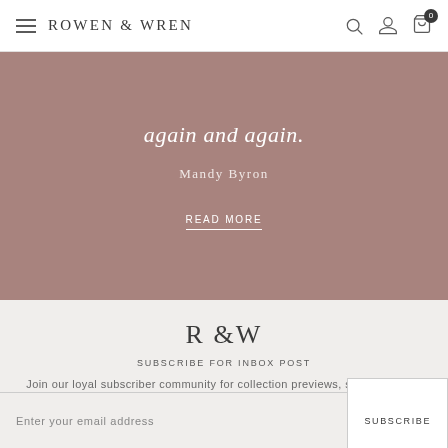ROWEN & WREN
again and again.
Mandy Byron
READ MORE
R&W
SUBSCRIBE FOR INBOX POST
Join our loyal subscriber community for collection previews, seasonal edits and considered musings.
Enter your email address
SUBSCRIBE